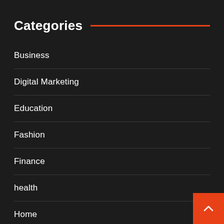Categories
Business
Digital Marketing
Education
Fashion
Finance
health
Home
Law